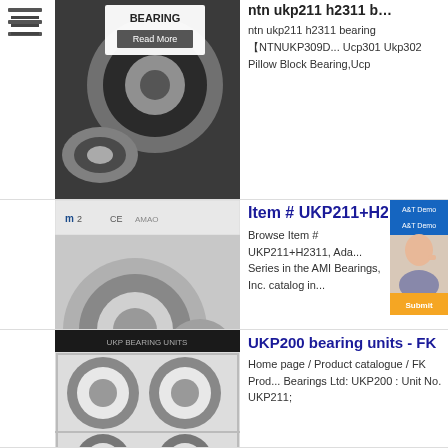[Figure (photo): NTN UKP211 H2311 bearing product photo showing tapered roller bearings on dark background with 'Read More' button overlay]
ntn ukp211 h2311 bearing 【NTNUKP309D... Ucp301 Ukp302 Pillow Block Bearing,Ucp
[Figure (photo): Item # UKP211+H2311 bearing product photo showing tapered roller bearings with bearing-china.cc branding, CE and other certification marks]
Item # UKP211+H2311,
Browse Item # UKP211+H2311, Ada... Series in the AMI Bearings, Inc. catalog in...
[Figure (photo): UKP200 bearing units - FK Bearings product photo showing sealed ball bearings on striped background]
UKP200 bearing units - FK
Home page / Product catalogue / FK Prod... Bearings Ltd: UKP200 : Unit No. UKP211;
[Figure (photo): bearing UKP211+H2311 product photo showing sealed ball bearings on striped background]
bearing UKP211+H2311,UK
bearing UKP211+H2311,UKP211+H2311 ... Block Bearings UKP211+H2311 Size -ID*O